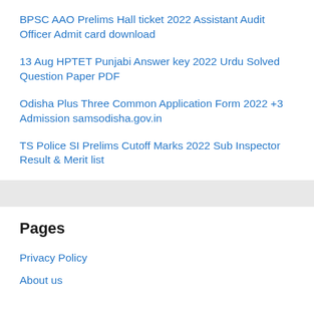BPSC AAO Prelims Hall ticket 2022 Assistant Audit Officer Admit card download
13 Aug HPTET Punjabi Answer key 2022 Urdu Solved Question Paper PDF
Odisha Plus Three Common Application Form 2022 +3 Admission samsodisha.gov.in
TS Police SI Prelims Cutoff Marks 2022 Sub Inspector Result & Merit list
Pages
Privacy Policy
About us